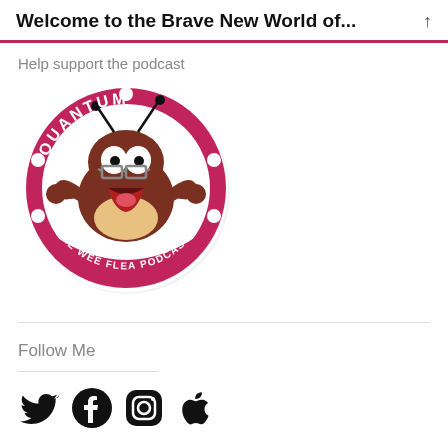Welcome to the Brave New World of...
Help support the podcast
[Figure (logo): Quantum - The Wee Flea Podcast logo: circular red badge with a cartoon flea character wearing glasses, arms outstretched, with text 'QUANTUM' at top and 'THE WEE FLEA PODCAST' at bottom]
Follow Me
[Figure (illustration): Social media icons: Twitter bird, Facebook f, Instagram camera, Apple logo]